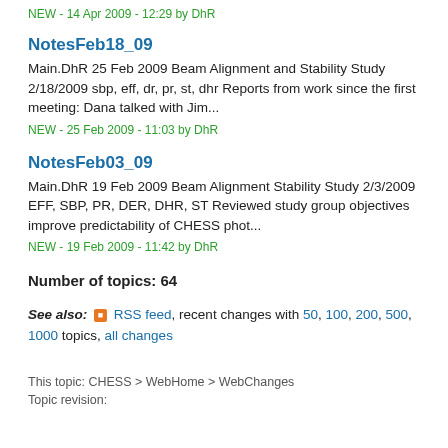NEW - 14 Apr 2009 - 12:29 by DhR
NotesFeb18_09
Main.DhR 25 Feb 2009 Beam Alignment and Stability Study 2/18/2009 sbp, eff, dr, pr, st, dhr Reports from work since the first meeting: Dana talked with Jim...
NEW - 25 Feb 2009 - 11:03 by DhR
NotesFeb03_09
Main.DhR 19 Feb 2009 Beam Alignment Stability Study 2/3/2009 EFF, SBP, PR, DER, DHR, ST Reviewed study group objectives improve predictability of CHESS phot...
NEW - 19 Feb 2009 - 11:42 by DhR
Number of topics: 64
See also: RSS feed, recent changes with 50, 100, 200, 500, 1000 topics, all changes
This topic: CHESS > WebHome > WebChanges
Topic revision: